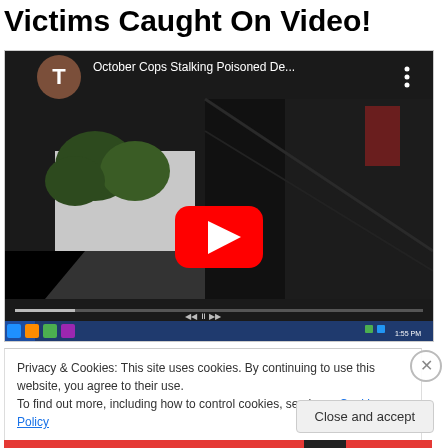Victims Caught On Video!
[Figure (screenshot): YouTube video screenshot titled 'October Cops Stalking Poisoned De...' showing a dark outdoor scene with trees and a red YouTube play button in the center. Has a YouTube-style video player interface at the bottom with a Windows taskbar visible.]
Privacy & Cookies: This site uses cookies. By continuing to use this website, you agree to their use.
To find out more, including how to control cookies, see here: Cookie Policy
Close and accept